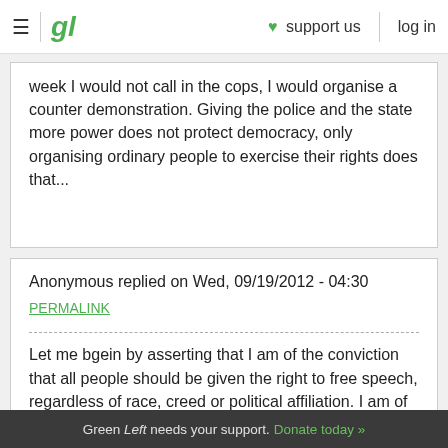gl | ♥ support us | log in
week I would not call in the cops, I would organise a counter demonstration. Giving the police and the state more power does not protect democracy, only organising ordinary people to exercise their rights does that...
Anonymous replied on Wed, 09/19/2012 - 04:30
PERMALINK
Let me bgein by asserting that I am of the conviction that all people should be given the right to free speech, regardless of race, creed or political affiliation. I am of the persuasion that all citizens of
Green Left needs your support. Donate today »